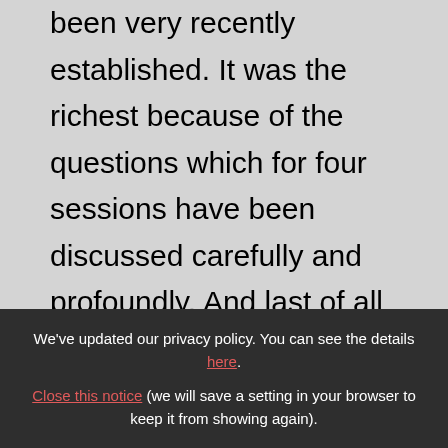been very recently established. It was the richest because of the questions which for four sessions have been discussed carefully and profoundly. And last of all it was the most opportune, because, bearing in mind the necessities of the present day, above all it sought to meet the pastoral needs and, nourishing the flame of charity, it has made a great effort to reach not only the Christians still separated from communion with the Holy See, but also the whole human family.
We've updated our privacy policy. You can see the details here. Close this notice (we will save a setting in your browser to keep it from showing again).